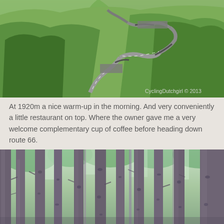[Figure (photo): Aerial view of a winding mountain road with hairpin bends cutting through green hillsides and forested terrain. Watermark reads 'CyclingDutchgirl © 2013'.]
At 1920m a nice warm-up in the morning. And very conveniently a little restaurant on top. Where the owner gave me a very welcome complementary cup of coffee before heading down route 66.
[Figure (photo): View looking up through a dense forest of tall pine trees with bare trunks, with green foliage visible in the canopy.]